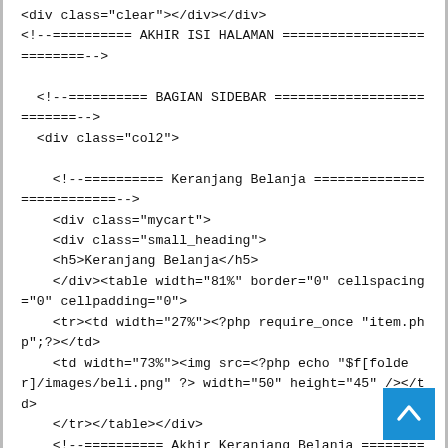<div class="clear"></div></div>
<!--========== AKHIR ISI HALAMAN ==========================-->

  <!--========== BAGIAN SIDEBAR ==========================-->
  <div class="col2">

    <!--========== Keranjang Belanja ==========================-->
    <div class="mycart">
    <div class="small_heading">
    <h5>Keranjang Belanja</h5>
    </div><table width="81%" border="0" cellspacing="0" cellpadding="0">
    <tr><td width="27%"><?php require_once "item.php";?></td>
    <td width="73%"><img src=<?php echo "$f[folder]/images/beli.png" ?> width="50" height="45" /></td>
    </tr></table></div>
    <!--========== Akhir Keranjang Belanja ==========================-->

    <!--========== Kategori Produk